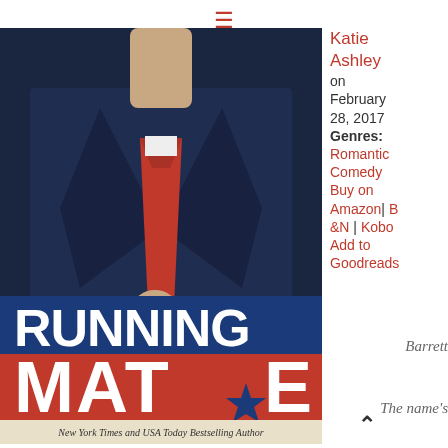☰
[Figure (photo): Book cover of 'Running Mate' by Katie Ashley. Shows a man in a dark suit with a red tie. The title 'RUNNING MATE' appears in large white text on a red and blue banner. Subtitle: 'New York Times and USA Today Bestselling Author'.]
Katie Ashley on February 28, 2017 Genres: Romantic Comedy Buy on Amazon | B&N | Kobo Add to Goodreads
Barrett
The name's